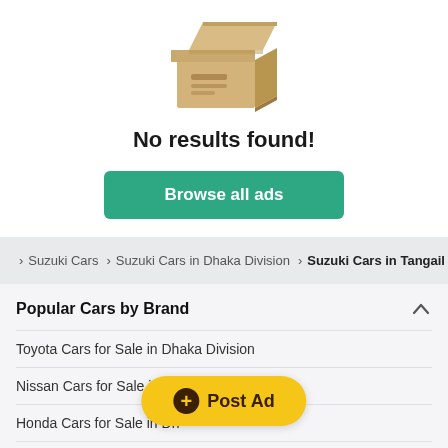[Figure (illustration): Open cardboard box icon with lid ajar, tan/beige color]
No results found!
Browse all ads
> Suzuki Cars > Suzuki Cars in Dhaka Division > Suzuki Cars in Tangail
Popular Cars by Brand
Toyota Cars for Sale in Dhaka Division
Nissan Cars for Sale in Dhaka Division
Honda Cars for Sale in Dhaka Division
Mitsubishi Cars for Sale in Dhaka Division
Post Ad